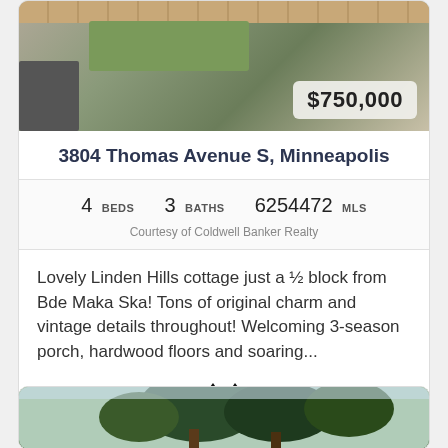[Figure (photo): Exterior photo of property at 3804 Thomas Avenue S with price badge showing $750,000]
3804 Thomas Avenue S, Minneapolis
4 BEDS  3 BATHS  6254472 MLS
Courtesy of Coldwell Banker Realty
Lovely Linden Hills cottage just a ½ block from Bde Maka Ska! Tons of original charm and vintage details throughout! Welcoming 3-season porch, hardwood floors and soaring...
[Figure (photo): Exterior photo of second property listing with large trees visible]